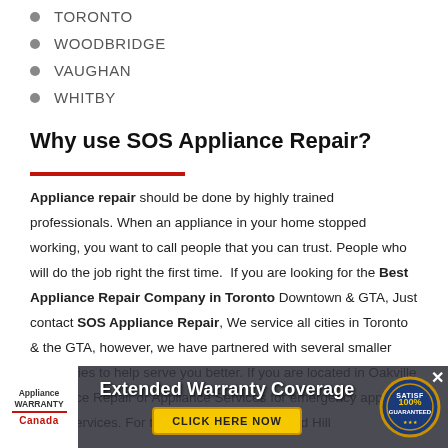TORONTO
WOODBRIDGE
VAUGHAN
WHITBY
Why use SOS Appliance Repair?
Appliance repair should be done by highly trained professionals. When an appliance in your home stopped working, you want to call people that you can trust. People who will do the job right the first time. If you are looking for the Best Appliance Repair Company in Toronto Downtown & GTA, Just contact SOS Appliance Repair, We service all cities in Toronto & the GTA, however, we have partnered with several smaller companies to help serve you better. If you are located in Oakville Appliance Repair or Appliance Services for emergency appliance repair services. For those located in Richmond Hill
[Figure (infographic): Extended Warranty Coverage advertisement banner with Appliance Warranty Canada logo, a yellow CLICK HERE NOW button, and a 100% Satisfaction Guaranteed badge. A close (X) button is in the top right.]